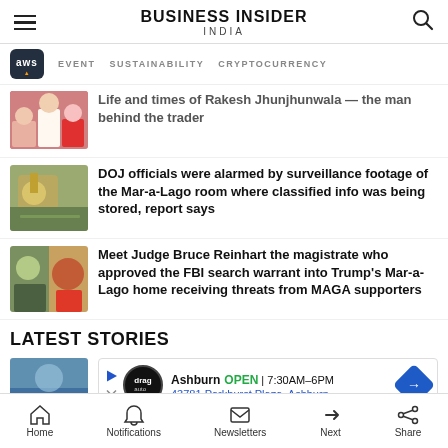BUSINESS INSIDER INDIA
EVENT  SUSTAINABILITY  CRYPTOCURRENCY
Life and times of Rakesh Jhunjhunwala — the man behind the trader
DOJ officials were alarmed by surveillance footage of the Mar-a-Lago room where classified info was being stored, report says
Meet Judge Bruce Reinhart the magistrate who approved the FBI search warrant into Trump's Mar-a-Lago home receiving threats from MAGA supporters
LATEST STORIES
[Figure (screenshot): Advertisement banner for Drag Auto in Ashburn: OPEN 7:30AM-6PM, 43781 Parkhurst Plaza, Ashburn]
Home  Notifications  Newsletters  Next  Share